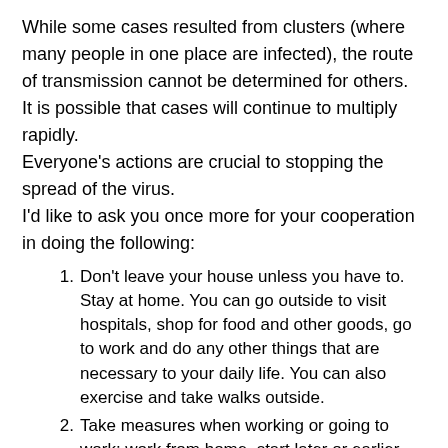While some cases resulted from clusters (where many people in one place are infected), the route of transmission cannot be determined for others. It is possible that cases will continue to multiply rapidly. Everyone's actions are crucial to stopping the spread of the virus. I'd like to ask you once more for your cooperation in doing the following:
Don't leave your house unless you have to. Stay at home. You can go outside to visit hospitals, shop for food and other goods, go to work and do any other things that are necessary to your daily life. You can also exercise and take walks outside.
Take measures when working or going to work: work from home, start later or earlier than your usual schedule, change your modes of transport (e.g. ride a bicycle) to avoid being with a lot of people.
Don't create settings where all “Three Cs” overlap in your everyday life, including at work: spaces that are